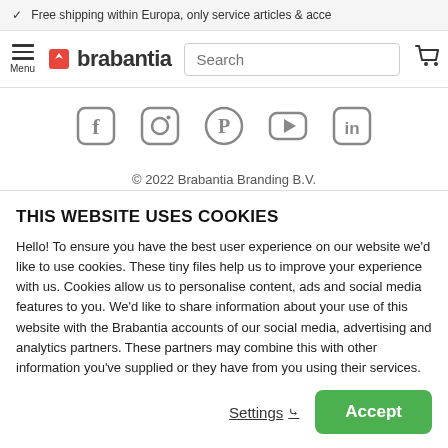✓ Free shipping within Europa, only service articles & acce
[Figure (screenshot): Brabantia website navigation bar with hamburger menu, Brabantia logo, search box, and cart icon]
[Figure (infographic): Social media icons: Facebook, Instagram, Pinterest, YouTube, LinkedIn]
© 2022 Brabantia Branding B.V.
• Terms & conditions • Privacy • Cookies • Legal notice
THIS WEBSITE USES COOKIES
Hello! To ensure you have the best user experience on our website we'd like to use cookies. These tiny files help us to improve your experience with us. Cookies allow us to personalise content, ads and social media features to you. We'd like to share information about your use of this website with the Brabantia accounts of our social media, advertising and analytics partners. These partners may combine this with other information you've supplied or they have from you using their services.
Settings ∨
Accept